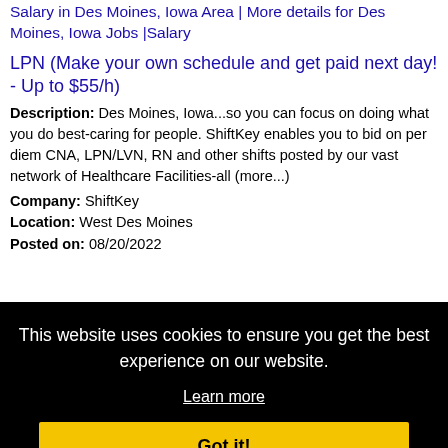Salary in Des Moines, Iowa Area | More details for Des Moines, Iowa Jobs |Salary
LPN (Make your own schedule and get paid next day! - Up to $55/h)
Description: Des Moines, Iowa...so you can focus on doing what you do best-caring for people. ShiftKey enables you to bid on per diem CNA, LPN/LVN, RN and other shifts posted by our vast network of Healthcare Facilities-all (more...)
Company: ShiftKey
Location: West Des Moines
Posted on: 08/20/2022
This website uses cookies to ensure you get the best experience on our website.
Learn more
Got it!
l estate
Town
Description: Martin Marietta is currently looking for a motivated,